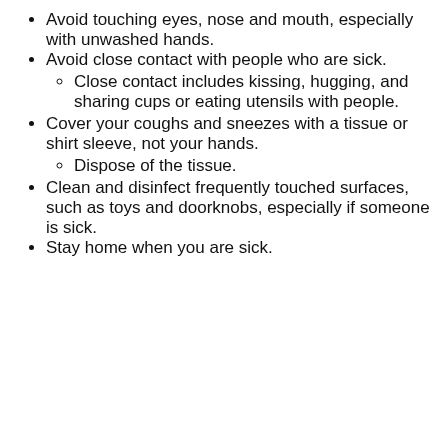Avoid touching eyes, nose and mouth, especially with unwashed hands.
Avoid close contact with people who are sick.
Close contact includes kissing, hugging, and sharing cups or eating utensils with people.
Cover your coughs and sneezes with a tissue or shirt sleeve, not your hands.
Dispose of the tissue.
Clean and disinfect frequently touched surfaces, such as toys and doorknobs, especially if someone is sick.
Stay home when you are sick.